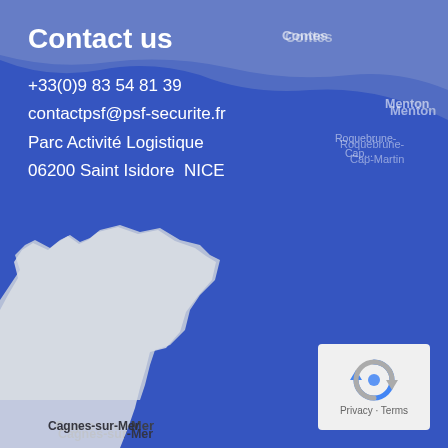[Figure (map): Google Maps screenshot showing the French Riviera coastline near Nice, with Cagnes-sur-Mer, Antibes visible on the left, and Menton, Roquebrune, and Contes visible in the upper portion. The map has a blue overlay. The coast and sea are visible with land in white/gray tones.]
Contact us
+33(0)9 83 54 81 39
contactpsf@psf-securite.fr
Parc Activité Logistique
06200 Saint Isidore  NICE
[Figure (logo): Google reCAPTCHA logo icon (circular arrow shape in blue/gray) with 'Privacy · Terms' text below it, displayed in a light gray rounded box in the bottom-right corner.]